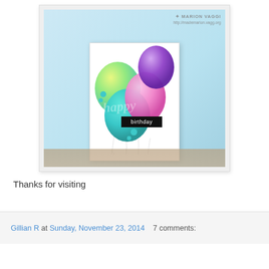[Figure (photo): A handmade happy birthday card with colorful balloons (teal, pink, purple, yellow-green, light blue) and the words 'happy birthday' on them. The card is white with balloon string embossing. Watermark reads 'MARION VAGGI http://mademarion.vagg.org'. The card is displayed on a wooden surface against a light blue background.]
Thanks for visiting
Gillian R at Sunday, November 23, 2014   7 comments: